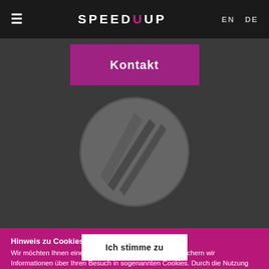≡  SPEEDUUP  EN  DE
Kontakt
[Figure (logo): Circular logo with diagonal lines/slash design in grey tones]
Hinweis zu Cookies
Wir möchten Ihnen einen guten Service bieten. Dazu speichern wir Informationen über Ihren Besuch in sogenannten Cookies. Durch die Nutzung dieser Webseite erklären Sie sich mit der Verwendung von Cookies einverstanden. Detaillierte Informationen über den Einsatz von Cookies und zum Datenschutz auf dieser Webseite erhalten Sie durch Klick auf Mehr Informationen.
Ich stimme zu